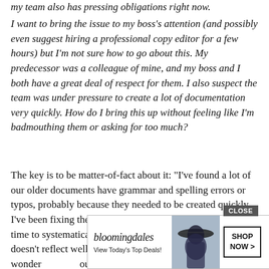my team also has pressing obligations right now.
I want to bring the issue to my boss’s attention (and possibly even suggest hiring a professional copy editor for a few hours) but I’m not sure how to go about this. My predecessor was a colleague of mine, and my boss and I both have a great deal of respect for them. I also suspect the team was under pressure to create a lot of documentation very quickly. How do I bring this up without feeling like I’m badmouthing them or asking for too much?
The key is to be matter-of-fact about it: “I’ve found a lot of our older documents have grammar and spelling errors or typos, probably because they needed to be created quickly. I’ve been fixing them as I find them, but I don’t have the time to systematically go through them all. I’m concerned it doesn’t reflect well on us to clients, so I wonder if you’d be okay with allocating a bit of work to tackl
[Figure (other): Bloomingdale's advertisement banner with logo, 'View Today’s Top Deals!' text, photo of woman in hat, and 'SHOP NOW >' button. Overlaid with a 'CLOSE' button.]